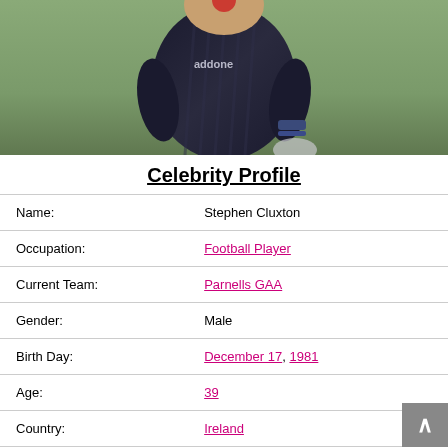[Figure (photo): Photo of Stephen Cluxton, a footballer wearing a dark jersey with 'addone' text, standing on a grass field, partially cropped showing torso and arms]
Celebrity Profile
| Name: | Stephen Cluxton |
| Occupation: | Football Player |
| Current Team: | Parnells GAA |
| Gender: | Male |
| Birth Day: | December 17, 1981 |
| Age: | 39 |
| Country: | Ireland |